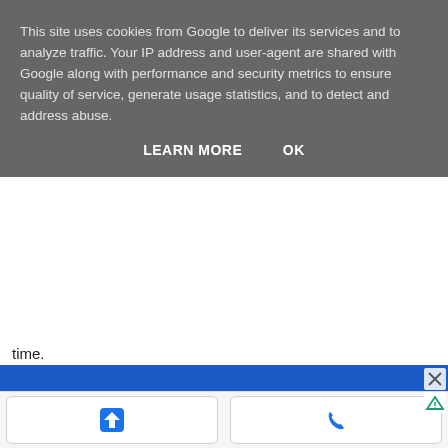This site uses cookies from Google to deliver its services and to analyze traffic. Your IP address and user-agent are shared with Google along with performance and security metrics to ensure quality of service, generate usage statistics, and to detect and address abuse.
LEARN MORE   OK
time.
[Figure (screenshot): Blue advertisement banner with close (X) and ad info (triangle) icons in top right corner]
[Figure (map): Google Maps view showing streets with a red location pin marker, yellow road, and green park area]
[Figure (screenshot): Two action buttons at bottom: blue directions arrow icon button and blue phone icon button]